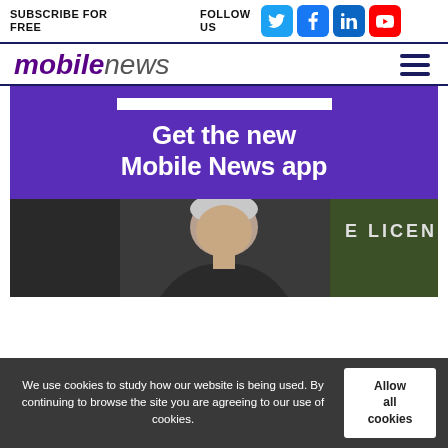SUBSCRIBE FOR FREE
FOLLOW US
[Figure (logo): Social media icons: Twitter, Facebook, LinkedIn, YouTube]
[Figure (logo): Mobile News logo with bold purple italic 'mobile' and light italic 'news']
[Figure (other): Hamburger menu icon (three horizontal lines)]
[Figure (illustration): Purple promotional banner reading 'Get the new Mobile News app' with white bar at top]
[Figure (photo): Photo of older man with grey/white hair, dark background with partial green sign reading 'E LICEN']
We use cookies to study how our website is being used. By continuing to browse the site you are agreeing to our use of cookies.
Allow all cookies